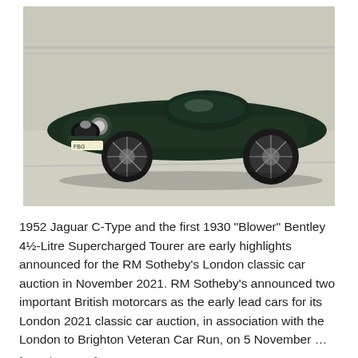[Figure (photo): A dark green 1952 Jaguar C-Type racing car on a racetrack, viewed from the front-left quarter angle. The car has a streamlined body, wire wheels, and a registration plate reading 'FBG'.]
1952 Jaguar C-Type and the first 1930 "Blower" Bentley 4½-Litre Supercharged Tourer are early highlights announced for the RM Sotheby's London classic car auction in November 2021. RM Sotheby's announced two important British motorcars as the early lead cars for its London 2021 classic car auction, in association with the London to Brighton Veteran Car Run, on 5 November … [Read more...]